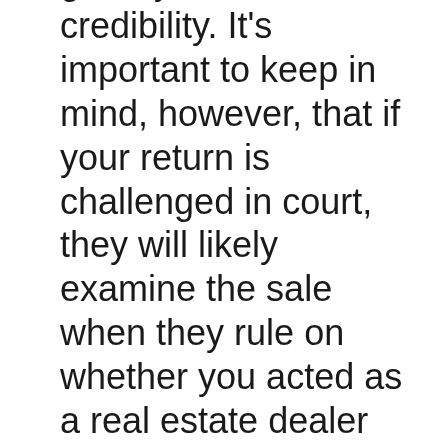gives your case credibility. It's important to keep in mind, however, that if your return is challenged in court, they will likely examine the sale when they rule on whether you acted as a real estate dealer or real estate investor on a particular property.[4]